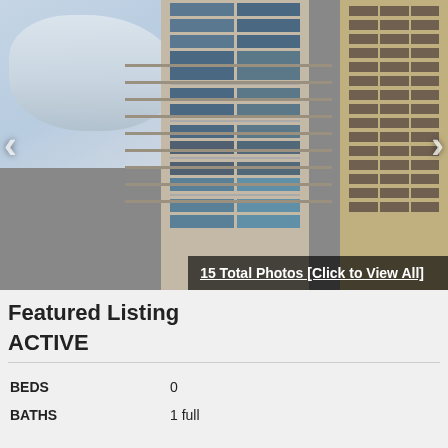[Figure (photo): Exterior photograph of a tall modern residential condo building with glass windows and balconies, taken from a low angle, with a neighboring stone building visible on the right and clouds in the sky on the left. Navigation arrows on left and right sides.]
15 Total Photos [Click to View All]
Featured Listing
ACTIVE
| BEDS | 0 |
| BATHS | 1 full |